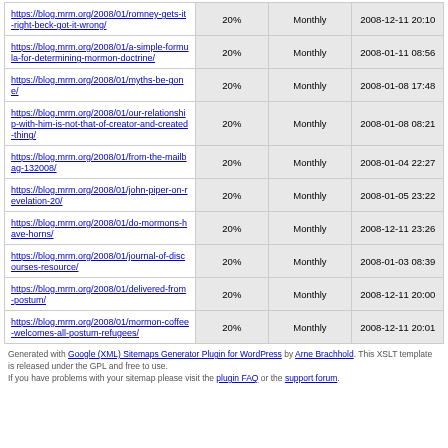| URL | Priority | Change Frequency | Last Modified |
| --- | --- | --- | --- |
| https://blog.mrm.org/2008/01/romney-gets-it-right-beck-got-it-wrong/ | 20% | Monthly | 2008-12-11 20:10 |
| https://blog.mrm.org/2008/01/a-simple-formula-for-determining-mormon-doctrine/ | 20% | Monthly | 2008-01-11 08:56 |
| https://blog.mrm.org/2008/01/myths-be-gone/ | 20% | Monthly | 2008-01-08 17:48 |
| https://blog.mrm.org/2008/01/our-relationship-with-him-is-not-that-of-creator-and-created-thing/ | 20% | Monthly | 2008-01-08 08:21 |
| https://blog.mrm.org/2008/01/from-the-mailbag-132008/ | 20% | Monthly | 2008-01-04 22:27 |
| https://blog.mrm.org/2008/01/john-piper-on-revelation-20/ | 20% | Monthly | 2008-01-05 23:22 |
| https://blog.mrm.org/2008/01/do-mormons-have-horns/ | 20% | Monthly | 2008-12-11 23:26 |
| https://blog.mrm.org/2008/01/journal-of-discourses-resource/ | 20% | Monthly | 2008-01-03 08:39 |
| https://blog.mrm.org/2008/01/delivered-from-postum/ | 20% | Monthly | 2008-12-11 20:00 |
| https://blog.mrm.org/2008/01/mormon-coffee-welcomes-all-postum-refugees/ | 20% | Monthly | 2008-12-11 20:01 |
Generated with Google (XML) Sitemaps Generator Plugin for WordPress by Arne Brachhold. This XSLT template is released under the GPL and free to use. If you have problems with your sitemap please visit the plugin FAQ or the support forum.